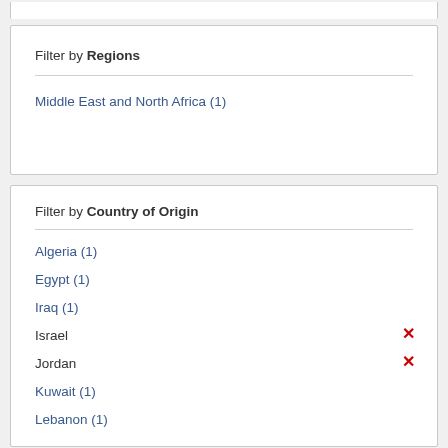Filter by Regions
Middle East and North Africa (1)
Filter by Country of Origin
Algeria (1)
Egypt (1)
Iraq (1)
Israel ✕
Jordan ✕
Kuwait (1)
Lebanon (1)